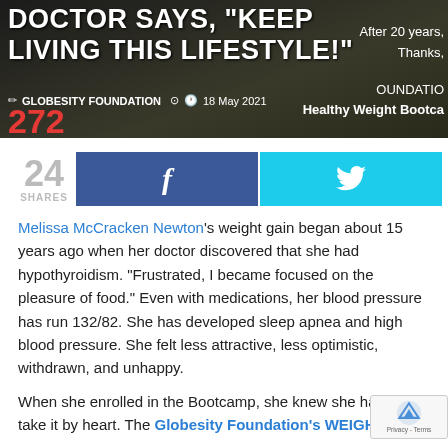[Figure (screenshot): Dark header image with text overlay: 'DOCTOR SAYS, "KEEP LIVING THIS LIFESTYLE!"', byline 'GLOBESITY FOUNDATION', date '18 May 2021', and overlay text 'After 20 years, Thanks, Healthy Weight Bootcamp, FOUNDATION' with red number '272']
24 SHARES
[Figure (infographic): Facebook share button (blue) and Twitter share button (cyan) side by side]
Melissa McCracken Newton's weight gain began about 15 years ago when her doctor discovered that she had hypothyroidism. "Frustrated, I became focused on the pleasure of food." Even with medications, her blood pressure has run 132/82. She has developed sleep apnea and high blood pressure. She felt less attractive, less optimistic, withdrawn, and unhappy.
When she enrolled in the Bootcamp, she knew she had to take it by heart. The Globesity Foundation's WEIGHT